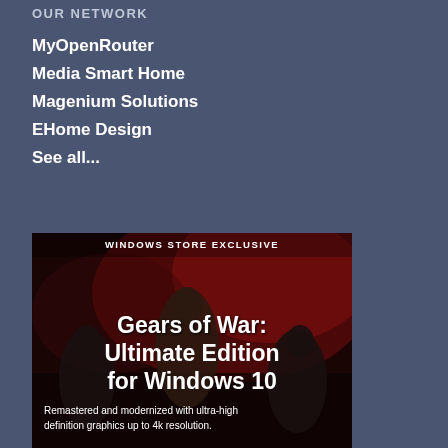OUR NETWORK
MyOpenRouter
Media Smart Home
Magenium Solutions
EHome Design
See all...
[Figure (screenshot): Windows Store Exclusive advertisement for Gears of War: Ultimate Edition for Windows 10. Dark background with armored soldiers. Text reads: WINDOWS STORE EXCLUSIVE, Gears of War: Ultimate Edition for Windows 10, Remastered and modernized with ultra-high definition graphics up to 4k resolution.]